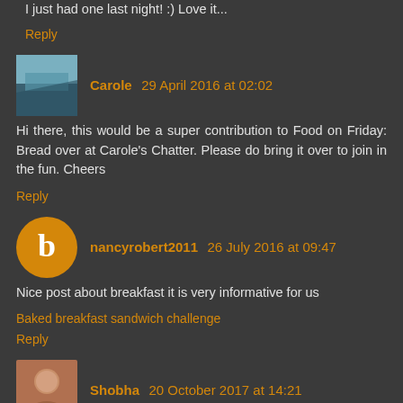I just had one last night! :) Love it...
Reply
Carole 29 April 2016 at 02:02
Hi there, this would be a super contribution to Food on Friday: Bread over at Carole's Chatter. Please do bring it over to join in the fun. Cheers
Reply
nancyrobert2011 26 July 2016 at 09:47
Nice post about breakfast it is very informative for us
Baked breakfast sandwich challenge
Reply
Shobha 20 October 2017 at 14:21
I have never tried avocado in hot dishes.. will surely try